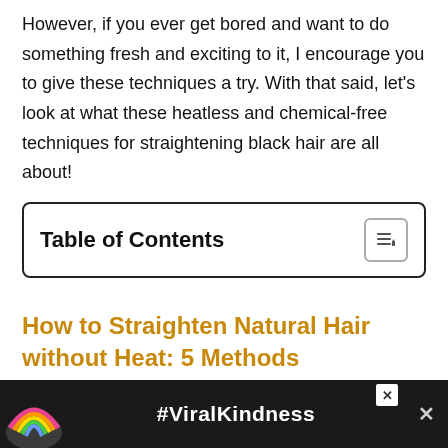However, if you ever get bored and want to do something fresh and exciting to it, I encourage you to give these techniques a try. With that said, let's look at what these heatless and chemical-free techniques for straightening black hair are all about!
| Table of Contents |
| --- |
How to Straighten Natural Hair without Heat: 5 Methods
When I think about straightening hair, my mind immediately goes to flat irons and blow dryers, and you… because…
[Figure (other): #ViralKindness advertisement banner with rainbow illustration]